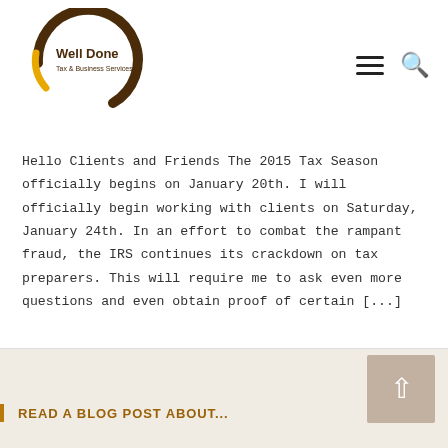[Figure (logo): Well Done Tax & Business Services logo — circular arc design in brown and yellow/gold with company name text]
Hello Clients and Friends The 2015 Tax Season officially begins on January 20th. I will officially begin working with clients on Saturday, January 24th. In an effort to combat the rampant fraud, the IRS continues its crackdown on tax preparers. This will require me to ask even more questions and even obtain proof of certain [...]
READ A BLOG POST ABOUT...